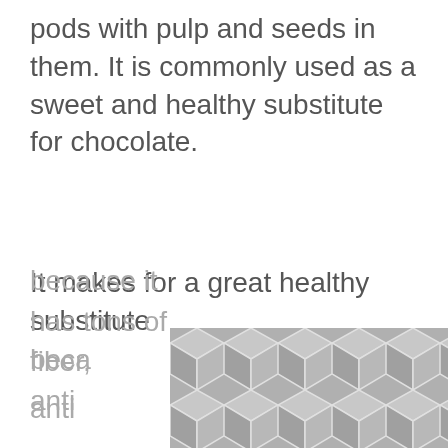pods with pulp and seeds in them. It is commonly used as a sweet and healthy substitute for chocolate.
It makes for a great healthy substitute because it has tons of fiber, antioxidants, and vitamins. It is known in
[Figure (illustration): Hexagonal geometric pattern overlay in gray, partially covering the bottom-right portion of the page text]